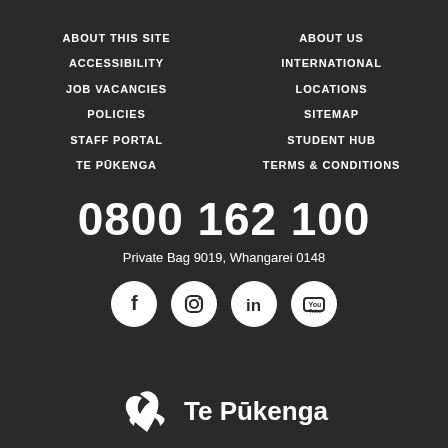ABOUT THIS SITE
ABOUT US
ACCESSIBILITY
INTERNATIONAL
JOB VACANCIES
LOCATIONS
POLICIES
SITEMAP
STAFF PORTAL
STUDENT HUB
TE PŪKENGA
TERMS & CONDITIONS
0800 162 100
Private Bag 9019, Whangarei 0148
[Figure (logo): Te Pūkenga logo with stylized bird/wing icon and text 'Te Pūkenga']